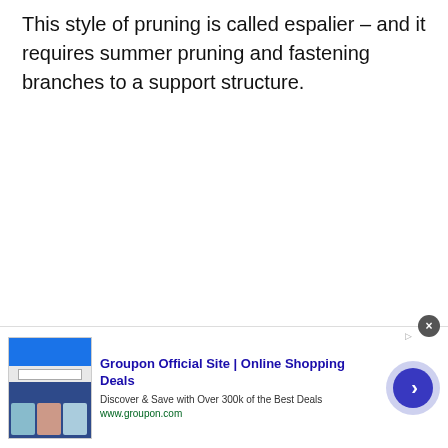This style of pruning is called espalier – and it requires summer pruning and fastening branches to a support structure.
[Figure (screenshot): Advertisement banner for Groupon Official Site. Shows a thumbnail image collage on the left, bold title 'Groupon Official Site | Online Shopping Deals', description 'Discover & Save with Over 300k of the Best Deals', URL 'www.groupon.com', a close button (X) top right, and a blue circular arrow/next button on the right.]